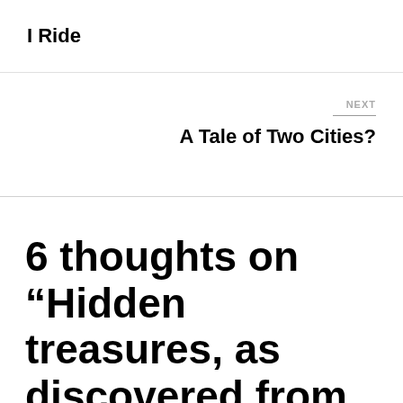I Ride
NEXT
A Tale of Two Cities?
6 thoughts on “Hidden treasures, as discovered from a bike”